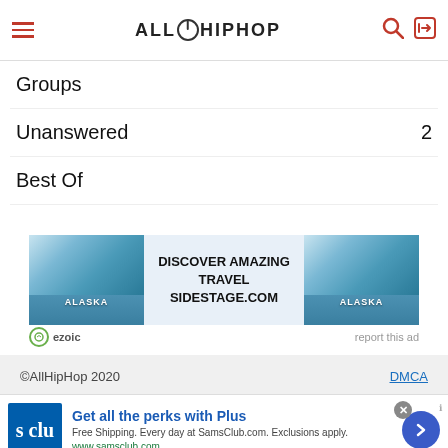AllHipHop
Groups
Unanswered 2
Best Of
[Figure (infographic): Advertisement banner: Alaska travel ad showing glacier images on left and right, center text reads 'DISCOVER AMAZING TRAVEL SIDESTAGE.COM', ezoic logo and 'report this ad' text below.]
©AllHipHop 2020    DMCA
[Figure (infographic): Bottom advertisement strip: Sam's Club 's clu' logo on left, 'Get all the perks with Plus' title, 'Free Shipping. Every day at SamsClub.com. Exclusions apply.' text, www.samsclub.com URL, close button and next arrow button.]